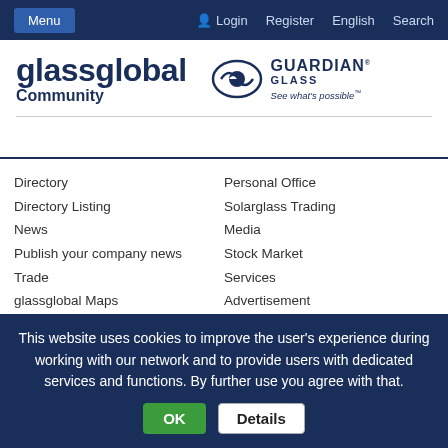Menu  Login  Register  English  Search
[Figure (logo): glassglobal Community logo and Guardian Glass 'See what's possible' logo]
Directory
Directory Listing
News
Publish your company news
Trade
glassglobal Maps
glassglobal Plants
Fairs & Events
Glass Books
Personal Office
Solarglass Trading
Media
Stock Market
Services
Advertisement
Send a Feedback
Sitemap
Legal notice
This website uses cookies to improve the user's experience during working with our network and to provide users with dedicated services and functions. By further use you agree with that.
OK  Details